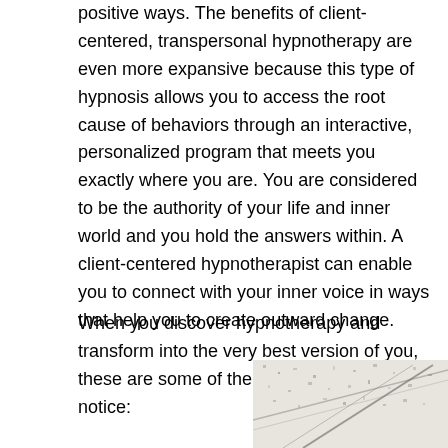positive ways. The benefits of client-centered, transpersonal hypnotherapy are even more expansive because this type of hypnosis allows you to access the root cause of behaviors through an interactive, personalized program that meets you exactly where you are. You are considered to be the authority of your life and inner world and you hold the answers within. A client-centered hypnotherapist can enable you to connect with your inner voice in ways that help you to create outward change.
When you discover hypnotherapy and transform into the very best version of you, these are some of the benefits you might notice:
[Figure (photo): Partial view of a photograph visible in the bottom-right corner of the page, appearing to show a grainy or textured image.]